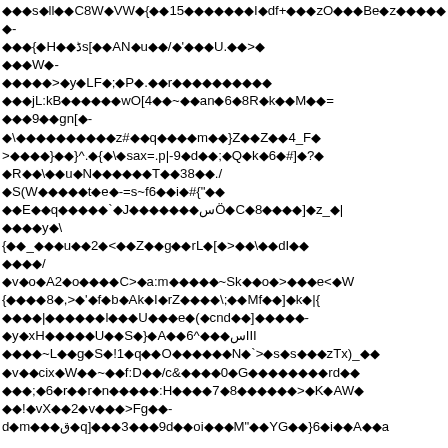◆◆◆s◆ll◆◆C8W◆VW◆{◆◆15◆◆◆◆◆◆◆I◆df+◆◆◆zO◆◆◆Be◆z◆◆◆◆◆◆-
◆◆◆{◆H◆◆ڈs[◆◆AN◆u◆◆/◆'◆◆◆U.◆◆>◆
◆◆◆W◆-
◆◆◆◆◆>◆y◆LF◆;◆P◆.◆◆r◆◆◆◆◆◆◆◆◆◆
◆◆◆jL:kB◆◆◆◆◆◆wO[4◆◆~◆◆an◆6◆8R◆k◆◆M◆◆=
◆◆◆9◆◆gn[◆-
◆\ ◆◆◆◆◆◆◆◆◆◆z#◆◆q◆◆◆◆m◆◆}Z◆◆Z◆◆4_F◆
>◆◆◆◆}◆◆}^.◆{◆\◆sax=.p|-9◆d◆◆;◆Q◆k◆6◆#]◆?◆
◆R◆◆\◆◆u◆N◆◆◆◆◆◆T◆◆38◆◆./
◆S(W◆◆◆◆◆t◆e◆-=s~f6◆◆i◆#{"◆◆
◆◆E◆◆q◆◆◆◆◆`◆J◆◆◆◆◆◆◆سÖ◆C◆8◆◆◆◆]◆z_◆|
◆◆◆◆y◆\
{◆◆_◆◆◆u◆◆2◆<◆◆Z◆◆g◆◆rL◆[◆>◆◆\◆◆dI◆◆
◆◆◆◆/
◆v◆o◆A2◆o◆◆◆◆C>◆a:m◆◆◆◆◆~Sk◆◆o◆>◆◆◆e<◆W
{◆◆◆◆8◆,>◆'◆f◆b◆Ak◆I◆rZ◆◆◆◆\;◆◆Mf◆◆]◆k◆|{
◆◆◆◆|◆◆◆◆◆◆l◆◆◆U◆◆◆e◆(◆cnd◆◆]◆◆◆◆◆-
◆y◆xH◆◆◆◆◆U◆◆S◆}◆A◆◆6^◆◆◆سIII
◆◆◆◆~L◆◆g◆S◆!1◆q◆◆O◆◆◆◆◆◆N◆`>◆s◆s◆◆◆zTx)_◆◆
◆v◆◆cix◆W◆◆~◆◆f:D◆◆/c&◆◆◆◆0◆G◆◆◆◆◆◆◆◆rd◆◆
◆◆◆;◆6◆r◆◆r◆n◆◆◆◆◆:H◆◆◆◆7◆8◆◆◆◆◆◆>◆K◆AW◆
◆◆!◆vX◆◆2◆v◆◆◆>Fg◆◆-
d◆m◆◆◆ق◆q]◆◆◆3◆◆◆9d◆◆oi◆◆◆M"◆◆YG◆◆}6◆i◆◆A◆◆a